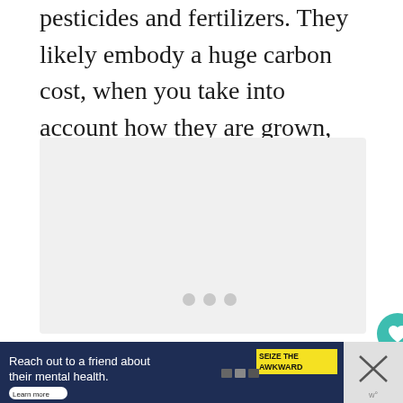pesticides and fertilizers. They likely embody a huge carbon cost, when you take into account how they are grown, and their transportation.
[Figure (other): A light gray content placeholder box with three small gray pagination dots at the bottom center. To the right are a teal heart/like button showing 4.8K count, and a white share button.]
[Figure (other): Advertisement bar: dark navy background with white text 'Reach out to a friend about their mental health.' Learn more button, SEIZE THE AWKWARD yellow badge, and a close X button on the right.]